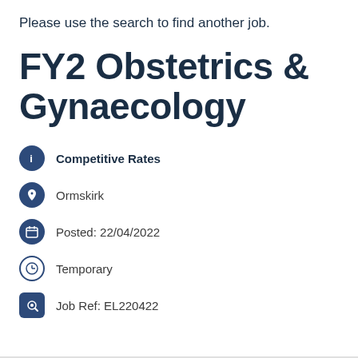Please use the search to find another job.
FY2 Obstetrics & Gynaecology
Competitive Rates
Ormskirk
Posted: 22/04/2022
Temporary
Job Ref: EL220422